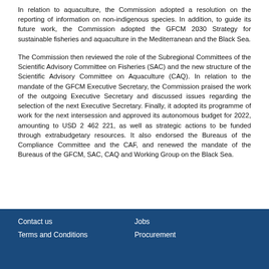In relation to aquaculture, the Commission adopted a resolution on the reporting of information on non-indigenous species. In addition, to guide its future work, the Commission adopted the GFCM 2030 Strategy for sustainable fisheries and aquaculture in the Mediterranean and the Black Sea.
The Commission then reviewed the role of the Subregional Committees of the Scientific Advisory Committee on Fisheries (SAC) and the new structure of the Scientific Advisory Committee on Aquaculture (CAQ). In relation to the mandate of the GFCM Executive Secretary, the Commission praised the work of the outgoing Executive Secretary and discussed issues regarding the selection of the next Executive Secretary. Finally, it adopted its programme of work for the next intersession and approved its autonomous budget for 2022, amounting to USD 2 462 221, as well as strategic actions to be funded through extrabudgetary resources. It also endorsed the Bureaus of the Compliance Committee and the CAF, and renewed the mandate of the Bureaus of the GFCM, SAC, CAQ and Working Group on the Black Sea.
Contact us   Jobs   Terms and Conditions   Procurement